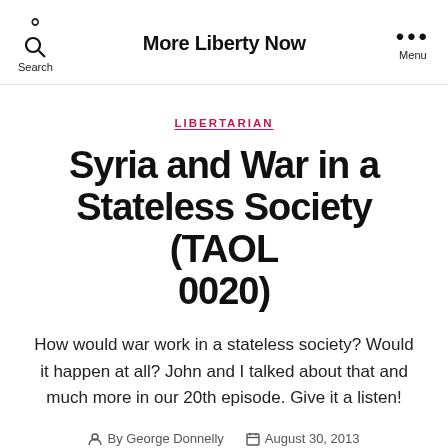More Liberty Now | Search | Menu
LIBERTARIAN
Syria and War in a Stateless Society (TAOL 0020)
How would war work in a stateless society? Would it happen at all? John and I talked about that and much more in our 20th episode. Give it a listen!
By George Donnelly   August 30, 2013